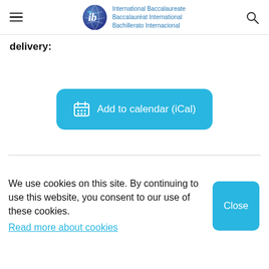International Baccalaureate Baccalauréat International Bachillerato Internacional
delivery:
[Figure (screenshot): Blue rounded button with calendar icon and text 'Add to calendar (iCal)']
We use cookies on this site. By continuing to use this website, you consent to our use of these cookies. Read more about cookies